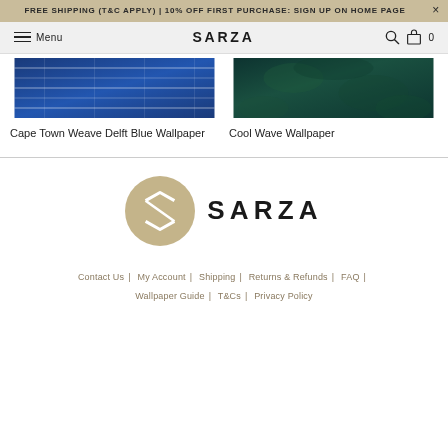FREE SHIPPING (T&C APPLY) | 10% OFF FIRST PURCHASE: SIGN UP ON HOME PAGE
Menu | SARZA | Search | Bag 0
[Figure (photo): Cape Town Weave Delft Blue Wallpaper product image — blue woven textile pattern]
Cape Town Weave Delft Blue Wallpaper
[Figure (photo): Cool Wave Wallpaper product image — dark teal botanical/wave pattern]
Cool Wave Wallpaper
[Figure (logo): SARZA brand logo — taupe/sand circle with SZ monogram and SARZA wordmark]
Contact Us | My Account | Shipping | Returns & Refunds | FAQ | Wallpaper Guide | T&Cs | Privacy Policy